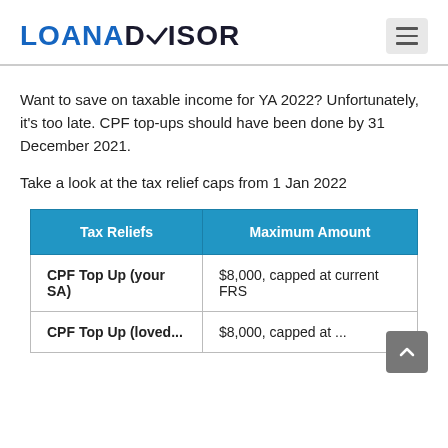LOANADVISOR
Want to save on taxable income for YA 2022? Unfortunately, it's too late. CPF top-ups should have been done by 31 December 2021.
Take a look at the tax relief caps from 1 Jan 2022
| Tax Reliefs | Maximum Amount |
| --- | --- |
| CPF Top Up (your SA) | $8,000, capped at current FRS |
| CPF Top Up (loved... | $8,000, capped at ... |